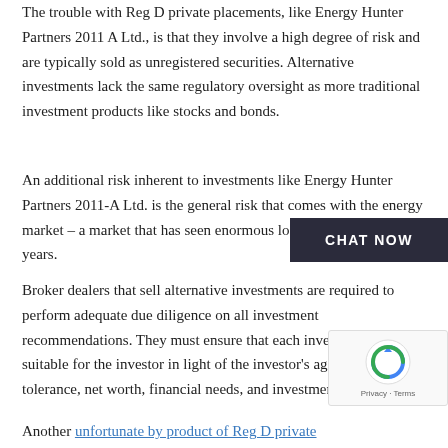The trouble with Reg D private placements, like Energy Hunter Partners 2011 A Ltd., is that they involve a high degree of risk and are typically sold as unregistered securities. Alternative investments lack the same regulatory oversight as more traditional investment products like stocks and bonds.
An additional risk inherent to investments like Energy Hunter Partners 2011-A Ltd. is the general risk that comes with the energy market – a market that has seen enormous losses over the last few years.
Broker dealers that sell alternative investments are required to perform adequate due diligence on all investment recommendations. They must ensure that each investment is suitable for the investor in light of the investor's age, risk tolerance, net worth, financial needs, and investment experience.
Another unfortunate by product of Reg D private